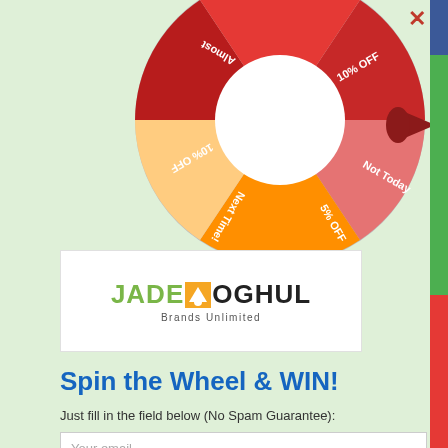[Figure (other): Spin the wheel with colored segments: Almost (red), 10% OFF (dark red), Not Today (orange-red), 5% OFF (orange), Next Time! (light orange/yellow), 10% OFF (red-dark), with a pointer arrow on the right side]
[Figure (logo): Jade Moghul Brands Unlimited logo - green JADE text, M icon with orange diamond, black OGHUL text, subtitle Brands Unlimited]
Spin the Wheel & WIN!
Just fill in the field below (No Spam Guarantee):
Your email